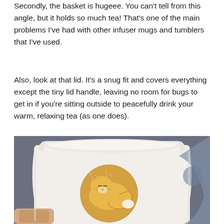Secondly, the basket is hugeee. You can't tell from this angle, but it holds so much tea! That's one of the main problems I've had with other infuser mugs and tumblers that I've used.
Also, look at that lid. It's a snug fit and covers everything except the tiny lid handle, leaving no room for bugs to get in if you're sitting outside to peacefully drink your warm, relaxing tea (as one does).
[Figure (photo): A hand holding a white ceramic mug with a fox illustration on it. The mug has a snug-fitting lid visible at the top. The fox appears in a circular design on the front of the mug. The background is dark/blurred.]